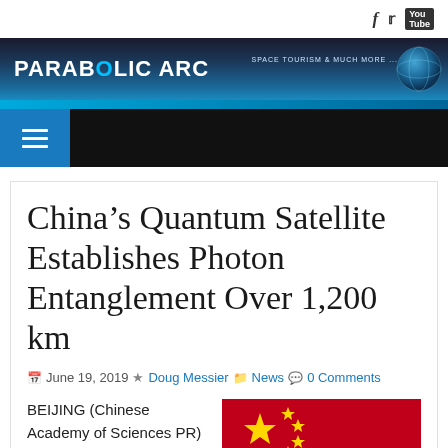PARABOLIC ARC — SPACE TOURISM & MUCH MORE
China's Quantum Satellite Establishes Photon Entanglement Over 1,200 km
June 19, 2019 Doug Messier News 0 Comments
BEIJING (Chinese Academy of Sciences PR) — A team of
[Figure (photo): Chinese national flag (red with yellow stars)]